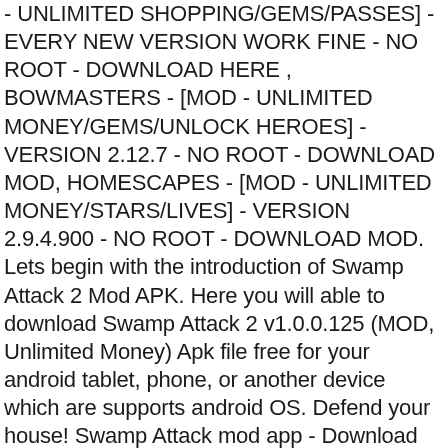- UNLIMITED SHOPPING/GEMS/PASSES] - EVERY NEW VERSION WORK FINE - NO ROOT - DOWNLOAD HERE , BOWMASTERS - [MOD - UNLIMITED MONEY/GEMS/UNLOCK HEROES] - VERSION 2.12.7 - NO ROOT - DOWNLOAD MOD, HOMESCAPES - [MOD - UNLIMITED MONEY/STARS/LIVES] - VERSION 2.9.4.900 - NO ROOT - DOWNLOAD MOD. Lets begin with the introduction of Swamp Attack 2 Mod APK. Here you will able to download Swamp Attack 2 v1.0.0.125 (MOD, Unlimited Money) Apk file free for your android tablet, phone, or another device which are supports android OS. Defend your house! Swamp Attack mod app - Download Swamp Attack full cracked apk with unlimited money patched for Android free. The first instalment of this game was released in 1991. In the story of the game you live far from civilization, in the most frequent forest. You have to defend it and survive the attacks of the evil zombies and without mercy. Download the app using